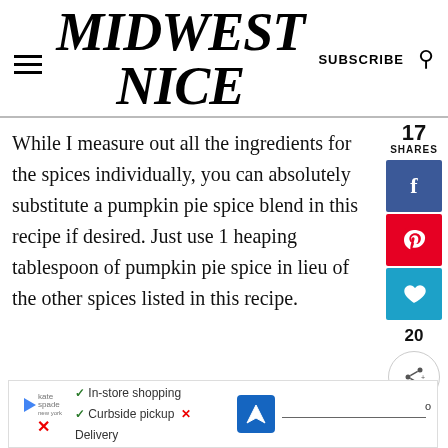MIDWEST NICE
While I measure out all the ingredients for the spices individually, you can absolutely substitute a pumpkin pie spice blend in this recipe if desired. Just use 1 heaping tablespoon of pumpkin pie spice in lieu of the other spices listed in this recipe.
[Figure (other): Social sharing sidebar with Facebook, Pinterest, heart/save, and share buttons. Shows 17 SHARES count and 20 total.]
[Figure (other): Advertisement banner showing kate spade logo, checkmarks for In-store shopping and Curbside pickup, X for Delivery, navigation icon, and wave/temperature icon.]